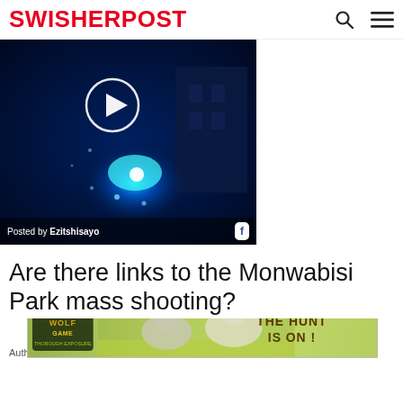SWISHERPOST
[Figure (screenshot): Video thumbnail showing blue police lights at night. Shows a play button circle. Footer text: Posted by Ezitshisayo with a Facebook icon.]
Are there links to the Monwabisi Park mass shooting?
Author ... ini
[Figure (photo): Advertisement banner: Wolf Game - The Hunt Is On! showing wolves in a field with game logo.]